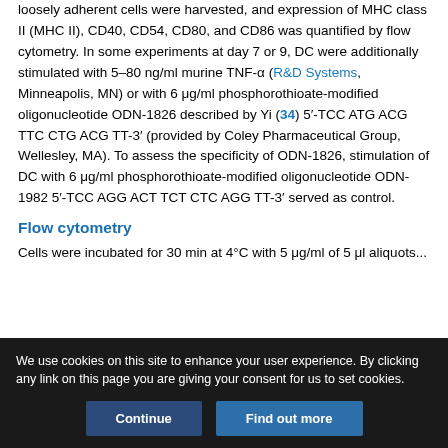loosely adherent cells were harvested, and expression of MHC class II (MHC II), CD40, CD54, CD80, and CD86 was quantified by flow cytometry. In some experiments at day 7 or 9, DC were additionally stimulated with 5–80 ng/ml murine TNF-α (R&D Systems, Minneapolis, MN) or with 6 μg/ml phosphorothioate-modified oligonucleotide ODN-1826 described by Yi (34) 5′-TCC ATG ACG TTC CTG ACG TT-3′ (provided by Coley Pharmaceutical Group, Wellesley, MA). To assess the specificity of ODN-1826, stimulation of DC with 6 μg/ml phosphorothioate-modified oligonucleotide ODN-1982 5′-TCC AGG ACT TCT CTC AGG TT-3′ served as control.
Flow cytometry
Cells were incubated for 30 min at 4°C with 5 μg/ml of 5 μl aliquots...
We use cookies on this site to enhance your user experience. By clicking any link on this page you are giving your consent for us to set cookies.